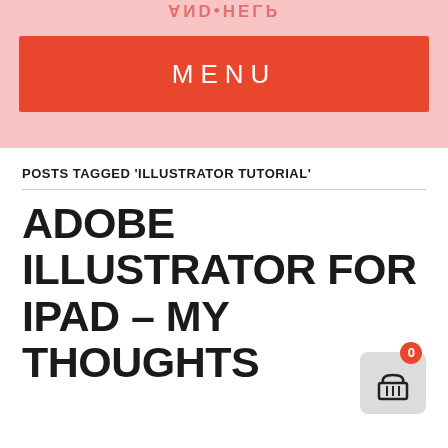MENU
POSTS TAGGED 'ILLUSTRATOR TUTORIAL'
ADOBE ILLUSTRATOR FOR IPAD – MY THOUGHTS